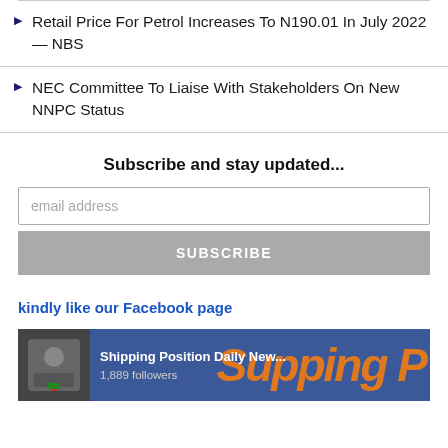Retail Price For Petrol Increases To N190.01 In July 2022 — NBS
NEC Committee To Liaise With Stakeholders On New NNPC Status
Subscribe and stay updated...
email address
SUBSCRIBE
kindly like our Facebook page
[Figure (screenshot): Facebook page thumbnail for Shipping Position Daily New... showing 1,889 followers and orange text logo]